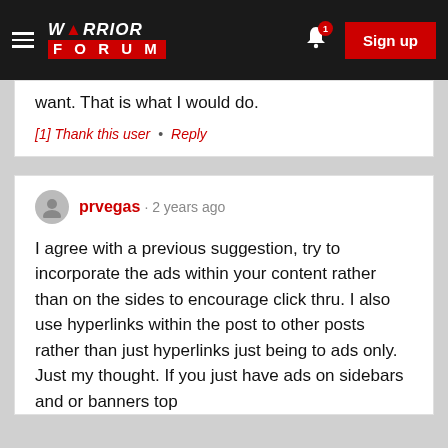[Figure (screenshot): Warrior Forum navigation bar with hamburger menu, Warrior Forum logo, notification bell with badge '1', and red Sign up button]
want. That is what I would do.
[1] Thank this user • Reply
prvegas · 2 years ago
I agree with a previous suggestion, try to incorporate the ads within your content rather than on the sides to encourage click thru. I also use hyperlinks within the post to other posts rather than just hyperlinks just being to ads only. Just my thought. If you just have ads on sidebars and or banners top